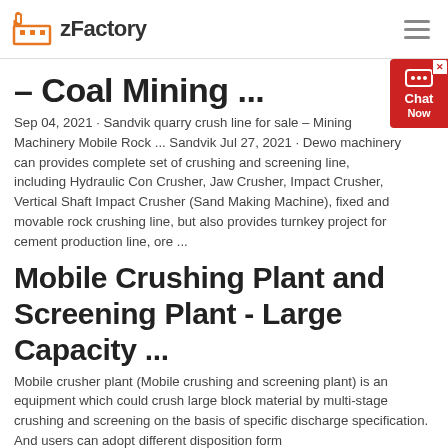zFactory
– Coal Mining ...
Sep 04, 2021 · Sandvik quarry crush line for sale – Mining Machinery Mobile Rock ... Sandvik Jul 27, 2021 · Dewo machinery can provides complete set of crushing and screening line, including Hydraulic Con Crusher, Jaw Crusher, Impact Crusher, Vertical Shaft Impact Crusher (Sand Making Machine), fixed and movable rock crushing line, but also provides turnkey project for cement production line, ore ...
Mobile Crushing Plant and Screening Plant - Large Capacity ...
Mobile crusher plant (Mobile crushing and screening plant) is an equipment which could crush large block material by multi-stage crushing and screening on the basis of specific discharge specification. And users can adopt different disposition form